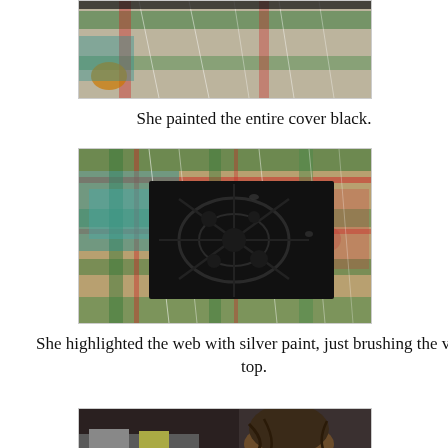[Figure (photo): Top partial photo showing a craft project with fabric and plastic wrap in the background, partially cropped at top of page.]
She painted the entire cover black.
[Figure (photo): Photo of a black-painted rectangular cover with embossed web/floral texture, placed against a colorful plaid fabric background with plastic wrap visible.]
She highlighted the web with silver paint, just brushing the very top.
[Figure (photo): Partial photo at bottom of page showing a person with dark hair working on the craft project, partially cropped.]